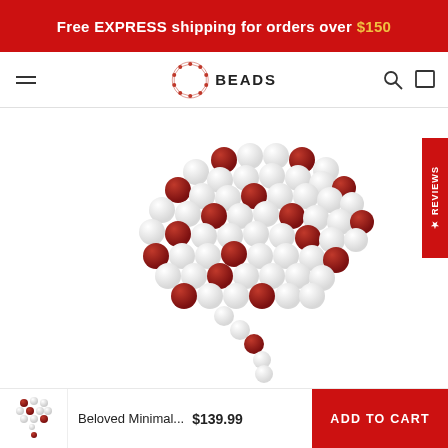Free EXPRESS shipping for orders over $150
[Figure (logo): Beloved Beads logo with circular bead pattern and text BEADS]
[Figure (photo): Product photo of a mala-style bead necklace with white and dark red/crimson beads arranged in a loose pile on a white background]
Beloved Minimal...  $139.99  ADD TO CART